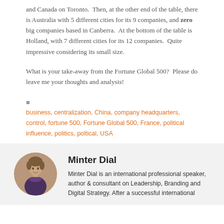and Canada on Toronto.  Then, at the other end of the table, there is Australia with 5 different cities for its 9 companies, and zero big companies based in Canberra.  At the bottom of the table is Holland, with 7 different cities for its 12 companies.  Quite impressive considering its small size.
What is your take-away from the Fortune Global 500?  Please do leave me your thoughts and analysis!
business, centralization, China, company headquarters, control, fortune 500, Fortune Global 500, France, political influence, politics, poltical, USA
Minter Dial
Minter Dial is an international professional speaker, author & consultant on Leadership, Branding and Digital Strategy. After a successful international